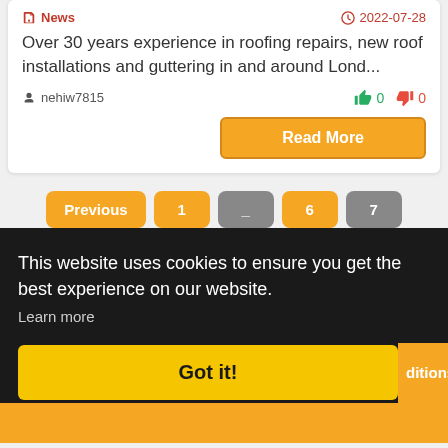News  2022-07-28
Over 30 years experience in roofing repairs, new roof installations and guttering in and around Lond...
nehiw7815  👍 0  👎 0
Read More
Previous  1  _  6  7
This website uses cookies to ensure you get the best experience on our website.
Learn more
Got it!
ditions